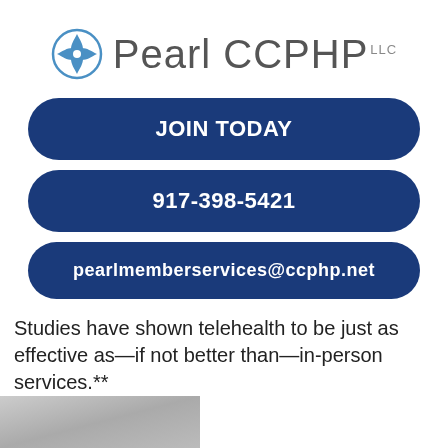[Figure (logo): Pearl CCPHP LLC logo with blue flower/compass icon and gray text]
JOIN TODAY
917-398-5421
pearlmemberservices@ccphp.net
Studies have shown telehealth to be just as effective as—if not better than—in-person services.**
[Figure (photo): Partial photo at bottom left corner, appears to be a nature or outdoor scene in grayscale]